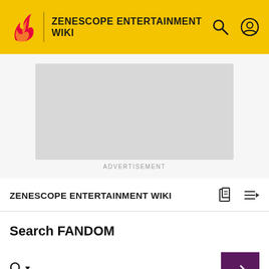ZENESCOPE ENTERTAINMENT WIKI
[Figure (other): Advertisement placeholder — grey rectangle]
ADVERTISEMENT
ZENESCOPE ENTERTAINMENT WIKI
Search FANDOM
ADVANCED
Articles   Posts   Photos and Videos   Blogs   Peopl▶